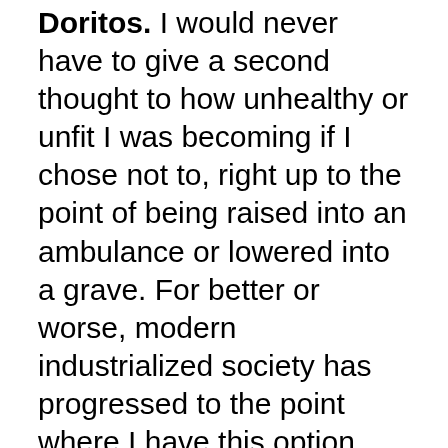Doritos. I would never have to give a second thought to how unhealthy or unfit I was becoming if I chose not to, right up to the point of being raised into an ambulance or lowered into a grave. For better or worse, modern industrialized society has progressed to the point where I have this option available to me.
I realize not everyone has this option. There are many people in the world that struggle just to